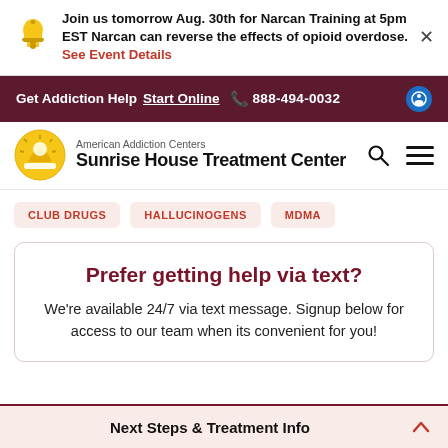Join us tomorrow Aug. 30th for Narcan Training at 5pm EST Narcan can reverse the effects of opioid overdose. See Event Details
Get Addiction Help  Start Online  888-494-0032
[Figure (logo): American Addiction Centers / Sunrise House Treatment Center logo with sun icon]
CLUB DRUGS
HALLUCINOGENS
MDMA
Prefer getting help via text?
We're available 24/7 via text message. Signup below for access to our team when its convenient for you!
Next Steps & Treatment Info